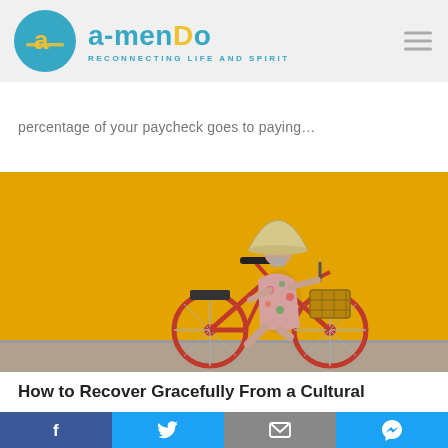[Figure (logo): Amendo logo with teal circle containing letter A in yellow, teal 'amendo' wordmark, tagline RECONNECTING LIFE AND SPIRIT]
percentage of your paycheck goes to paying…
[Figure (photo): Woman riding a red bicycle with a basket in front of a bright yellow wall, wearing a traditional Vietnamese conical hat and floral outfit]
How to Recover Gracefully From a Cultural
[Figure (infographic): Social sharing bar with Facebook, Twitter, Email, and Messenger icons]